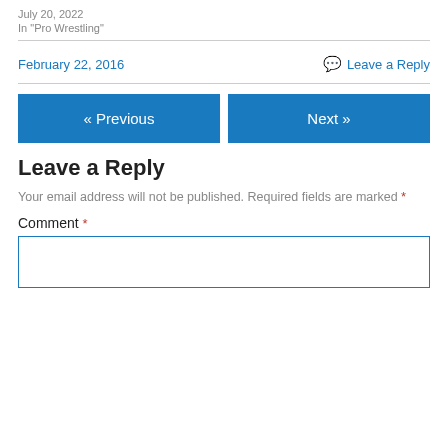July 20, 2022
In "Pro Wrestling"
February 22, 2016
Leave a Reply
« Previous
Next »
Leave a Reply
Your email address will not be published. Required fields are marked *
Comment *